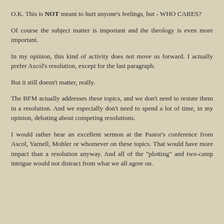O.K. This is NOT meant to hurt anyone's feelings, but - WHO CARES?
Of course the subject matter is important and the theology is even more important.
In my opinion, this kind of activity does not move us forward. I actually prefer Ascol's resolution, except for the last paragraph.
But it still doesn't matter, really.
The BFM actually addresses these topics, and we don't need to restate them in a resolution. And we especially don't need to spend a lot of time, in my opinion, debating about competing resolutions.
I would rather hear an excellent sermon at the Pastor's conference from Ascol, Yarnell, Mohler or whomever on these topics. That would have more impact than a resolution anyway. And all of the "plotting" and two-camp intrigue would not distract from what we all agree on.